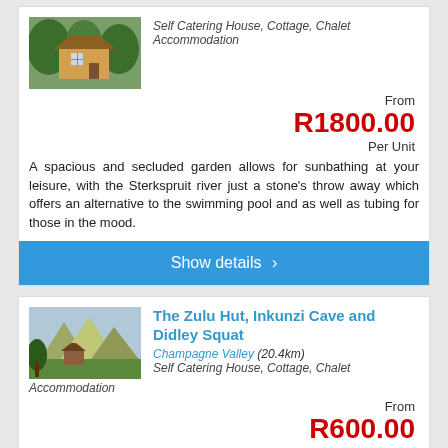[Figure (photo): Yellow house with thatched roof among green trees]
Self Catering House, Cottage, Chalet Accommodation
From
R1800.00
Per Unit
A spacious and secluded garden allows for sunbathing at your leisure, with the Sterkspruit river just a stone's throw away which offers an alternative to the swimming pool and as well as tubing for those in the mood.
Show details ›
[Figure (photo): Mountain valley with green trees and rocky peaks]
The Zulu Hut, Inkunzi Cave and Didley Squat
Champagne Valley (20.4km)
Self Catering House, Cottage, Chalet Accommodation
From
R600.00
Per Unit